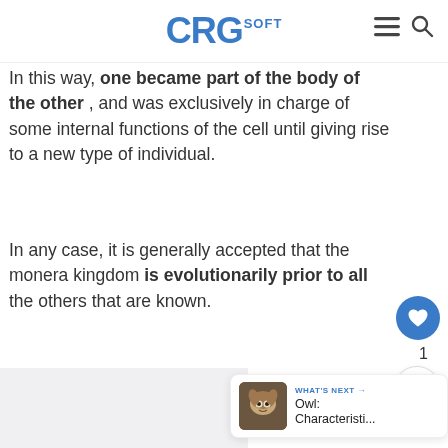CRGsoft
In this way, one became part of the body of the other , and was exclusively in charge of some internal functions of the cell until giving rise to a new type of individual.
In any case, it is generally accepted that the monera kingdom is evolutionarily prior to all the others that are known.